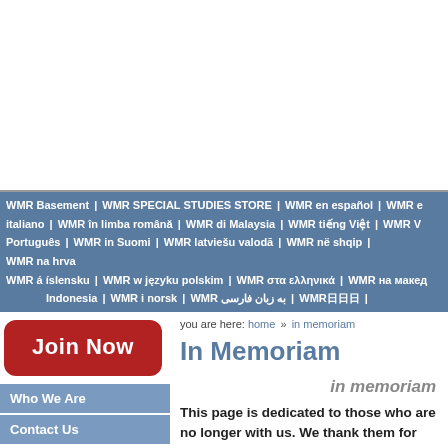[Figure (other): White advertisement banner area at top of page]
WMR Basement | WMR SPECIAL STUDIES STORE | WMR en español | WMR e italiano | WMR în limba română | WMR di Malaysia | WMR tiếng Việt | WMR Português | WMR in Suomi | WMR latviešu valodā | WMR në shqip | WMR na hrva WMR á íslensku | WMR w języku polskim | WMR στα ελληνικά | WMR на макед Indonesia | WMR i norsk | WMR به زبان فارسی | WMR日日日 |
Join Now
Who We Are
Contact Us
Subscription Rates
OPEN FORUM
WMR BOOKSTORE
Our Favorite Links
you are here: home » in memoriam
In Memoriam
in memoriam
This page is dedicated to those who are no longer with us. We thank them for their support, friendship, and they will always remain…
If anyone is aware of others who have left us and would like to add to our in memoriam page, please contact waynemadsendc@hot…